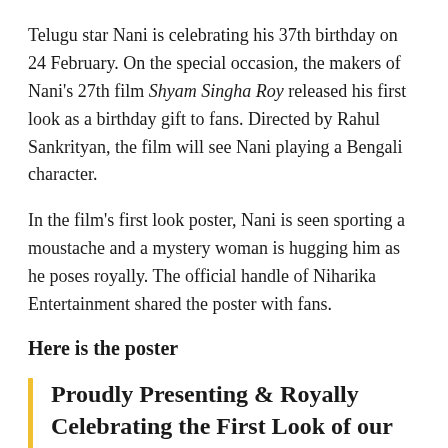Telugu star Nani is celebrating his 37th birthday on 24 February. On the special occasion, the makers of Nani's 27th film Shyam Singha Roy released his first look as a birthday gift to fans. Directed by Rahul Sankrityan, the film will see Nani playing a Bengali character.
In the film's first look poster, Nani is seen sporting a moustache and a mystery woman is hugging him as he poses royally. The official handle of Niharika Entertainment shared the poster with fans.
Here is the poster
Proudly Presenting & Royally Celebrating the First Look of our Natural @NameisNani 's #ShyamSinghaRoy